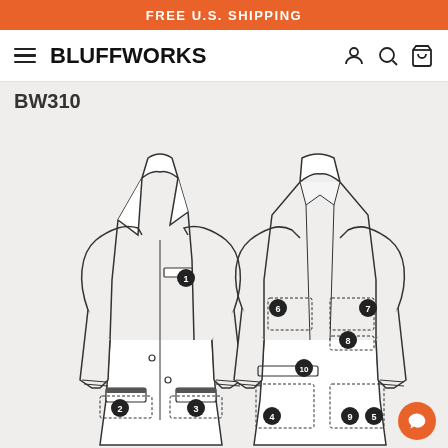FREE U.S. SHIPPING
BLUFFWORKS
BW310
[Figure (illustration): Line drawing illustration of a blazer/sport coat shown from two angles: front view (left) and open/back view (right). Both views have numbered circular badges indicating pocket locations: 1 (front chest pocket), 2 (lower left pocket), 3 (lower right pocket) on the front view; 4, 5, 6, 7, 8, 9, 10 on the back/open view showing interior pockets with dashed outlines.]